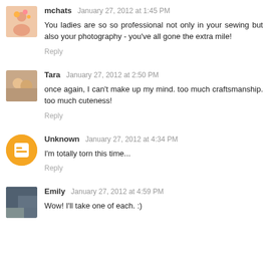mchats January 27, 2012 at 1:45 PM
You ladies are so so professional not only in your sewing but also your photography - you've all gone the extra mile!
Reply
Tara January 27, 2012 at 2:50 PM
once again, I can't make up my mind. too much craftsmanship. too much cuteness!
Reply
Unknown January 27, 2012 at 4:34 PM
I'm totally torn this time...
Reply
Emily January 27, 2012 at 4:59 PM
Wow! I'll take one of each. :)